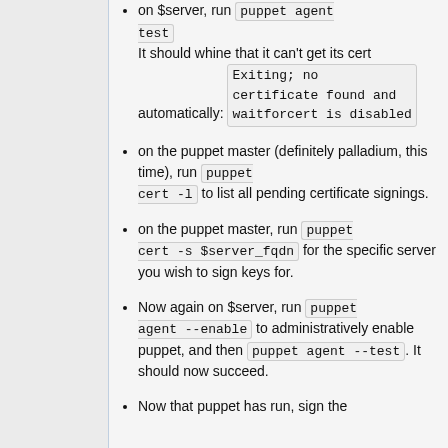on $server, run `puppet agent test`. It should whine that it can't get its cert automatically: `Exiting; no certificate found and waitforcert is disabled`
on the puppet master (definitely palladium, this time), run `puppet cert -l` to list all pending certificate signings.
on the puppet master, run `puppet cert -s $server_fqdn` for the specific server you wish to sign keys for.
Now again on $server, run `puppet agent --enable` to administratively enable puppet, and then `puppet agent --test`. It should now succeed.
Now that puppet has run, sign the